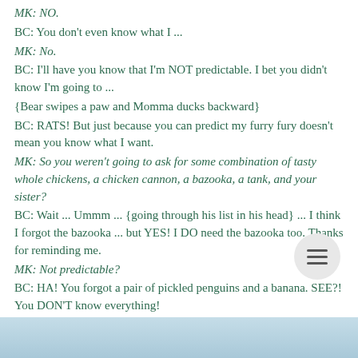MK: NO.
BC: You don't even know what I ...
MK: No.
BC: I'll have you know that I'm NOT predictable. I bet you didn't know I'm going to ...
{Bear swipes a paw and Momma ducks backward}
BC: RATS! But just because you can predict my furry fury doesn't mean you know what I want.
MK: So you weren't going to ask for some combination of tasty whole chickens, a chicken cannon, a bazooka, a tank, and your sister?
BC: Wait ... Ummm ... {going through his list in his head} ... I think I forgot the bazooka ... but YES! I DO need the bazooka too. Thanks for reminding me.
MK: Not predictable?
BC: HA! You forgot a pair of pickled penguins and a banana. SEE?! You DON'T know everything!
[Figure (photo): Bottom strip showing cat photo with light blue background]